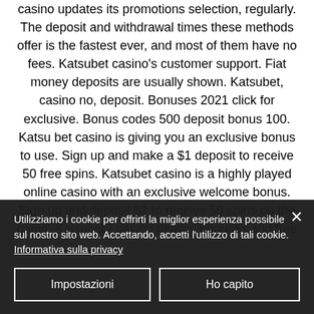casino updates its promotions selection, regularly. The deposit and withdrawal times these methods offer is the fastest ever, and most of them have no fees. Katsubet casino's customer support. Fiat money deposits are usually shown. Katsubet, casino no, deposit. Bonuses 2021 click for exclusive. Bonus codes 500 deposit bonus 100. Katsu bet casino is giving you an exclusive bonus to use. Sign up and make a $1 deposit to receive 50 free spins. Katsubet casino is a highly played online casino with an exclusive welcome bonus. Sign up and deposit $1 to receive 50 spins on the game. Katsubet - casino details, bonuses and free
Utilizziamo i cookie per offrirti la miglior esperienza possibile sul nostro sito web. Accettando, accetti l'utilizzo di tali cookie. Informativa sulla privacy
Impostazioni
Ho capito